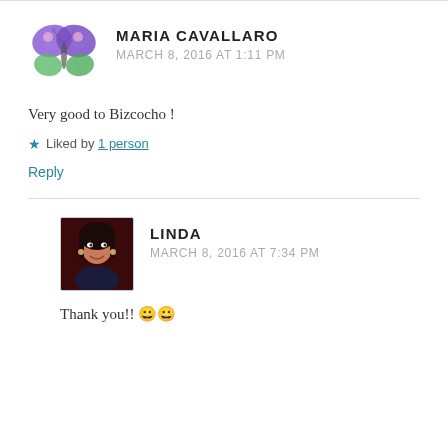MARIA CAVALLARO
MARCH 8, 2016 AT 1:11 PM
Very good to Bizcocho !
Liked by 1 person
Reply
LINDA
MARCH 8, 2016 AT 7:34 PM
Thank you!! 😀😀